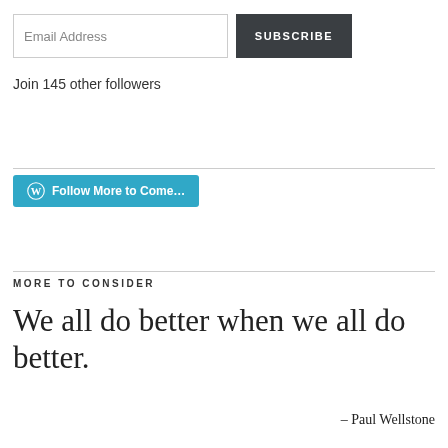Email Address
SUBSCRIBE
Join 145 other followers
[Figure (other): Follow More to Come... button with WordPress logo]
MORE TO CONSIDER
We all do better when we all do better.
– Paul Wellstone